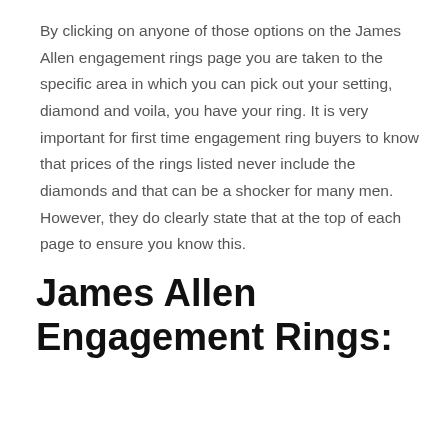By clicking on anyone of those options on the James Allen engagement rings page you are taken to the specific area in which you can pick out your setting, diamond and voila, you have your ring. It is very important for first time engagement ring buyers to know that prices of the rings listed never include the diamonds and that can be a shocker for many men. However, they do clearly state that at the top of each page to ensure you know this.
James Allen Engagement Rings: